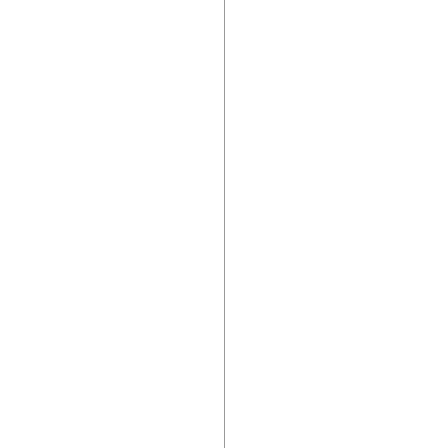eral Georges. Patton did not s